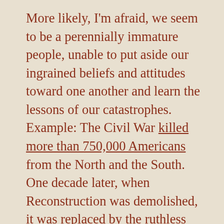More likely, I'm afraid, we seem to be a perennially immature people, unable to put aside our ingrained beliefs and attitudes toward one another and learn the lessons of our catastrophes. Example: The Civil War killed more than 750,000 Americans from the North and the South. One decade later, when Reconstruction was demolished, it was replaced by the ruthless repression of African Americans and reduction of their freedom almost back to slavery status. Jim Crow remained the rule in the South (supported by both overt and covert racism in the North) until the 1960s, and in the last twelve years, White supremacy again rears its ugly and violent head: No lessons learned that could help us survive as one people